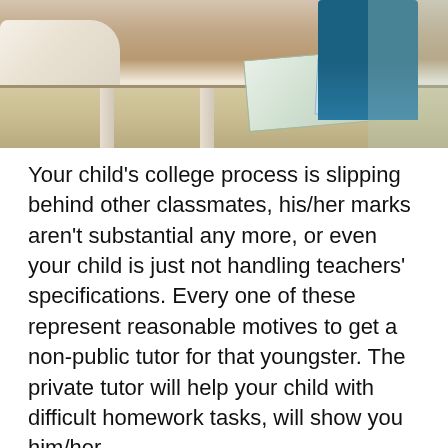[Figure (photo): Photo of students at a classroom desk, partial view showing arms and upper body of students writing/studying, with books visible on a light-colored wooden desk]
Your child's college process is slipping behind other classmates, his/her marks aren't substantial any more, or even your child is just not handling teachers' specifications. Every one of these represent reasonable motives to get a non-public tutor for that youngster. The private tutor will help your child with difficult homework tasks, will show you him/her… Continue reading